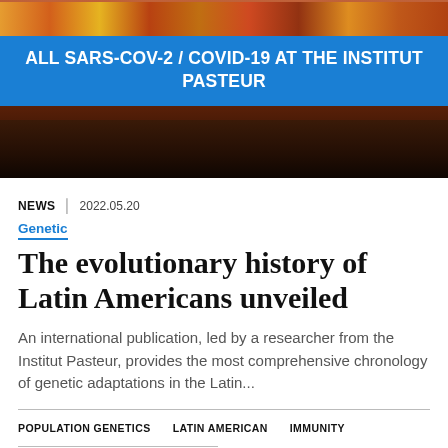[Figure (photo): Photo of people in colorful traditional attire, partially obscured by banner overlay]
ALL SARS-COV-2 / COVID-19 AT THE INSTITUT PASTEUR
NEWS | 2022.05.20
Genetic
The evolutionary history of Latin Americans unveiled
An international publication, led by a researcher from the Institut Pasteur, provides the most comprehensive chronology of genetic adaptations in the Latin...
POPULATION GENETICS | LATIN AMERICAN | IMMUNITY